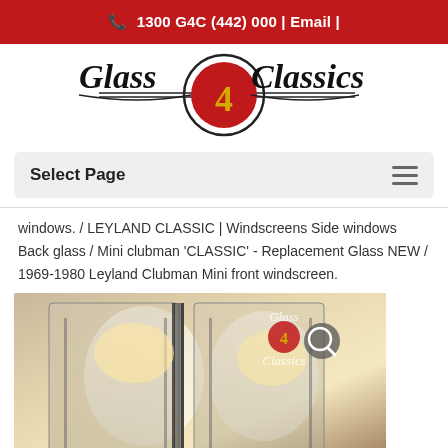☎ 1300 G4C (442) 000 | Email |
[Figure (logo): Glass 4 Classics logo with stylized script text and red circle with the number 4]
Select Page
windows. / LEYLAND CLASSIC | Windscreens Side windows Back glass / Mini clubman 'CLASSIC' - Replacement Glass NEW / 1969-1980 Leyland Clubman Mini front windscreen.
[Figure (photo): Photo of a classic car windscreen/glass product, with Glass 4 Classics logo watermark and magnifier icon overlay in the top right corner]